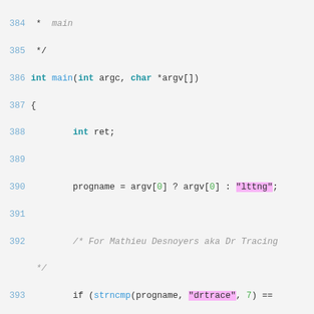Code listing lines 384-405, C source code showing main() function with argument parsing, signal handler setup, and drtrace easter egg.